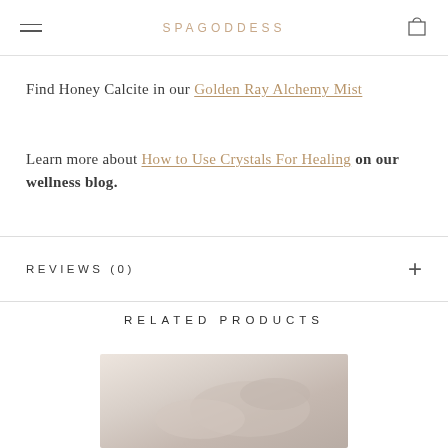SPAGODDESS
Find Honey Calcite in our Golden Ray Alchemy Mist
Learn more about How to Use Crystals For Healing on our wellness blog.
REVIEWS (0)
RELATED PRODUCTS
[Figure (photo): Product image thumbnail showing crystals or spa product in soft pinkish-beige tones]